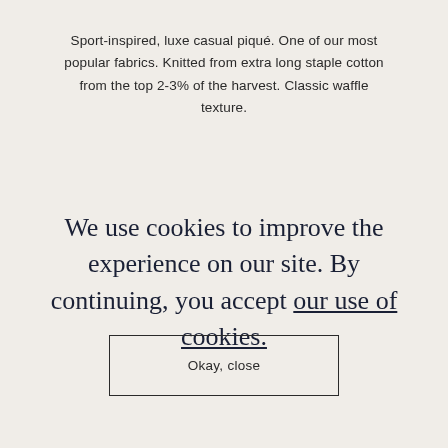Sport-inspired, luxe casual piqué. One of our most popular fabrics. Knitted from extra long staple cotton from the top 2-3% of the harvest. Classic waffle texture.
We use cookies to improve the experience on our site. By continuing, you accept our use of cookies.
Okay, close